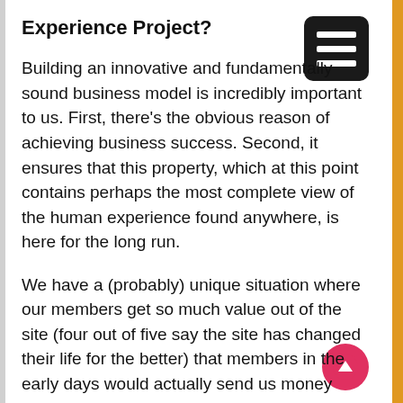Experience Project?
Building an innovative and fundamentally sound business model is incredibly important to us. First, there’s the obvious reason of achieving business success. Second, it ensures that this property, which at this point contains perhaps the most complete view of the human experience found anywhere, is here for the long run.
We have a (probably) unique situation where our members get so much value out of the site (four out of five say the site has changed their life for the better) that members in the early days would actually send us money without expecting anything in return– “use this to keep